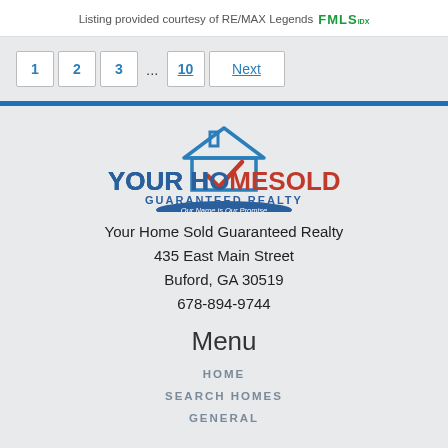Listing provided courtesy of RE/MAX Legends FMLS IDX
1 2 3 ... 10 Next
[Figure (logo): Your Home Sold Guaranteed Realty logo with house icon and tagline 'Our Name is Our Promise']
Your Home Sold Guaranteed Realty
435 East Main Street
Buford, GA 30519
678-894-9744
Menu
HOME
SEARCH HOMES
GENERAL